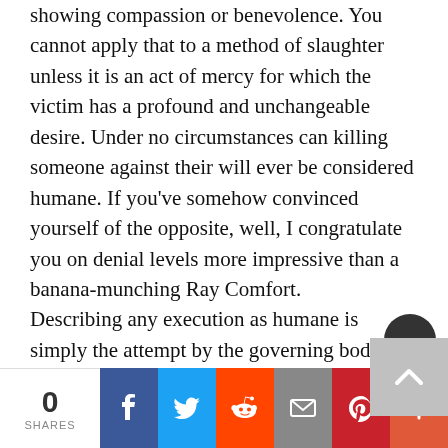showing compassion or benevolence. You cannot apply that to a method of slaughter unless it is an act of mercy for which the victim has a profound and unchangeable desire. Under no circumstances can killing someone against their will ever be considered humane. If you've somehow convinced yourself of the opposite, well, I congratulate you on denial levels more impressive than a banana-munching Ray Comfort.

Describing any execution as humane is simply the attempt by the governing body and people involved in the execution to shrug off guilt, to appear less cruel than they actually are. Deciding that it is just...
[Figure (other): Social share bar with 0 shares count, and icons for Facebook, Twitter, Reddit, Email, Pinterest, and More (+)]